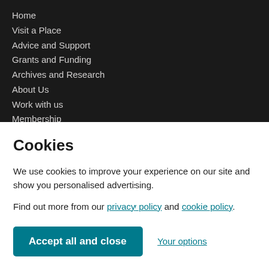Home
Visit a Place
Advice and Support
Grants and Funding
Archives and Research
About Us
Work with us
Membership
Cookies
We use cookies to improve your experience on our site and show you personalised advertising.
Find out more from our privacy policy and cookie policy.
Accept all and close
Your options